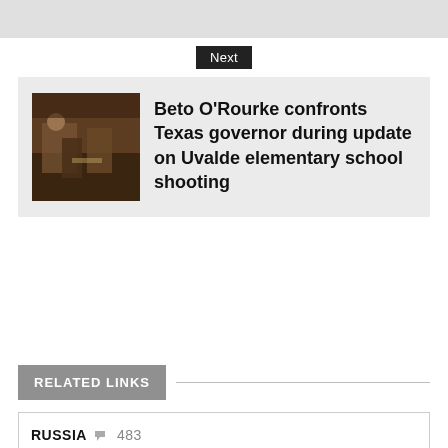[Figure (photo): Top strip gray area at top of page]
Next
Beto O'Rourke confronts Texas governor during update on Uvalde elementary school shooting
RELATED LINKS
RUSSIA 483
UKRAINE 449
JOE BIDEN 333
MIDTERM ELECTIONS 195